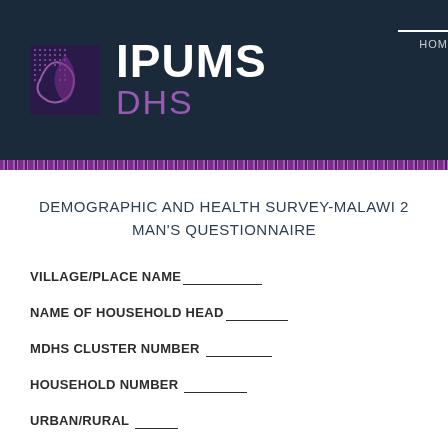IPUMS DHS
DEMOGRAPHIC AND HEALTH SURVEY-MALAWI 2
MAN'S QUESTIONNAIRE
VILLAGE/PLACE NAME___________________
NAME OF HOUSEHOLD HEAD_______________
MDHS CLUSTER NUMBER _______________
HOUSEHOLD NUMBER _______________
URBAN/RURAL __________